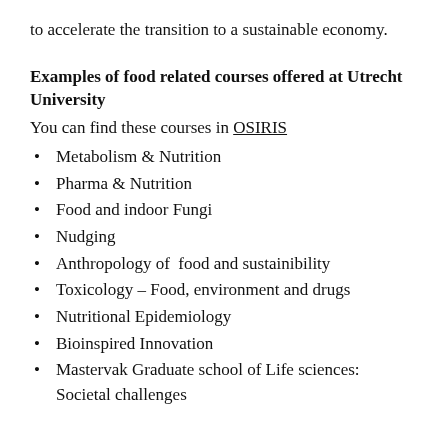to accelerate the transition to a sustainable economy.
Examples of food related courses offered at Utrecht University
You can find these courses in OSIRIS
Metabolism & Nutrition
Pharma & Nutrition
Food and indoor Fungi
Nudging
Anthropology of  food and sustainibility
Toxicology – Food, environment and drugs
Nutritional Epidemiology
Bioinspired Innovation
Mastervak Graduate school of Life sciences: Societal challenges